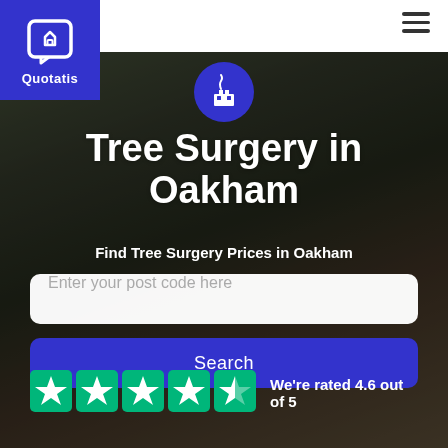[Figure (logo): Quotatis logo - white house outline on blue square background with text Quotatis below]
[Figure (illustration): Blue circle icon with white tree surgery / chimney sweep illustration]
Tree Surgery in Oakham
Find Tree Surgery Prices in Oakham
Enter your post code here
Search
We're rated 4.6 out of 5